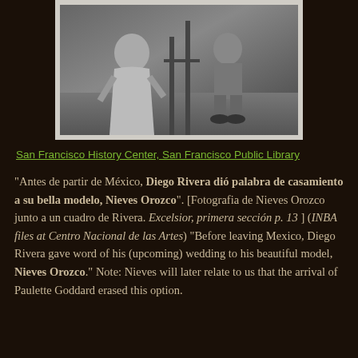[Figure (photo): Black and white photograph showing two figures, one appearing to be a woman in a dress on the left and a man seated on the right, displayed with a white border/frame.]
San Francisco History Center, San Francisco Public Library
“Antes de partir de México, Diego Rivera dió palabra de casamiento a su bella modelo, Nieves Orozco”. [Fotografia de Nieves Orozco junto a un cuadro de Rivera. Excelsior, primera sección p. 13 ] (INBA files at Centro Nacional de las Artes) “Before leaving Mexico, Diego Rivera gave word of his (upcoming) wedding to his beautiful model, Nieves Orozco.” Note: Nieves will later relate to us that the arrival of Paulette Goddard erased this option.